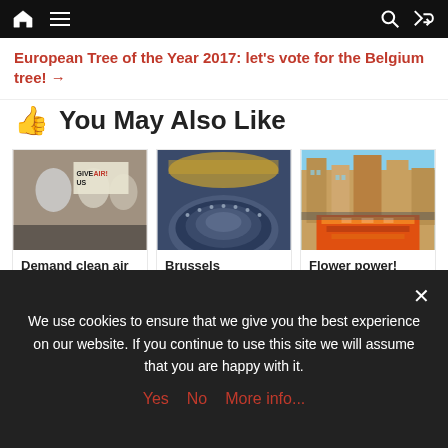Navigation bar with home, menu, search, and shuffle icons
European Tree of the Year 2017: let's vote for the Belgium tree! →
👍 You May Also Like
[Figure (photo): Protesters holding plastic bags over heads with sign saying GIVE US AIR!]
Demand clean air in Brussels
📅 15 November 2017
[Figure (photo): Aerial view of Brussels Parliament chamber in session]
Brussels Parliament back in session after major overhaul
[Figure (photo): Aerial view of Brussels Grand Place with flower carpet display]
Flower power!
📅 10 August 2017
We use cookies to ensure that we give you the best experience on our website. If you continue to use this site we will assume that you are happy with it.
Yes   No   More info...